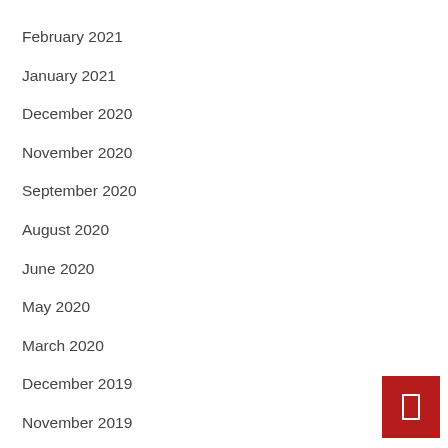February 2021
January 2021
December 2020
November 2020
September 2020
August 2020
June 2020
May 2020
March 2020
December 2019
November 2019
October 2019
September 2019